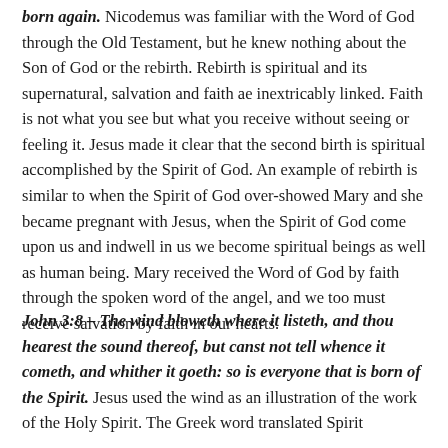born again. Nicodemus was familiar with the Word of God through the Old Testament, but he knew nothing about the Son of God or the rebirth. Rebirth is spiritual and its supernatural, salvation and faith ae inextricably linked. Faith is not what you see but what you receive without seeing or feeling it. Jesus made it clear that the second birth is spiritual accomplished by the Spirit of God. An example of rebirth is similar to when the Spirit of God over-showed Mary and she became pregnant with Jesus, when the Spirit of God come upon us and indwell in us we become spiritual beings as well as human being. Mary received the Word of God by faith through the spoken word of the angel, and we too must receive salvation by faith in our hearts.
John 3:8 – The wind bloweth where it listeth, and thou hearest the sound thereof, but canst not tell whence it cometh, and whither it goeth: so is everyone that is born of the Spirit. Jesus used the wind as an illustration of the work of the Holy Spirit. The Greek word translated Spirit...